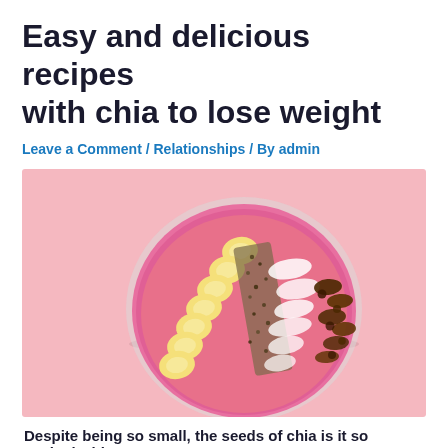Easy and delicious recipes with chia to lose weight
Leave a Comment / Relationships / By admin
[Figure (photo): A pink smoothie bowl viewed from above, topped with sliced bananas arranged diagonally, chia seeds, shredded coconut, and chocolate granola/cacao nibs, set on a pink background.]
Despite being so small, the seeds of chia is it so packed with